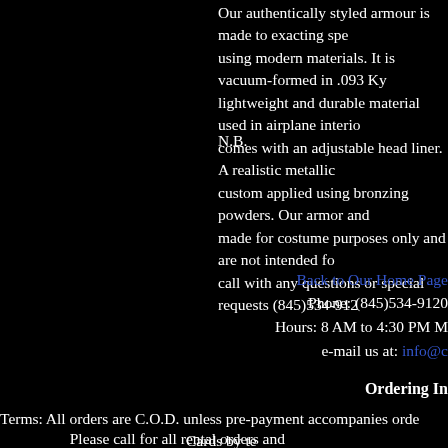Our authentically styled armour is made to exacting specifications using modern materials. It is vacuum-formed in .093 Kydex, a lightweight and durable material used in airplane interiors. It comes with an adjustable head liner. A realistic metallic finish is custom applied using bronzing powders. Our armor and helmets are made for costume purposes only and are not intended for combat. Please call with any questions or special requests (845)534-9120.
N.B.
Back to Our Home Page
Phone: (845)534-9120
Hours: 8 AM to 4:30 PM M-F
e-mail us at: info@c...
Ordering In...
Terms: All orders are C.O.D. unless pre-payment accompanies order... Cards by te...
Please call for all rental orders an...